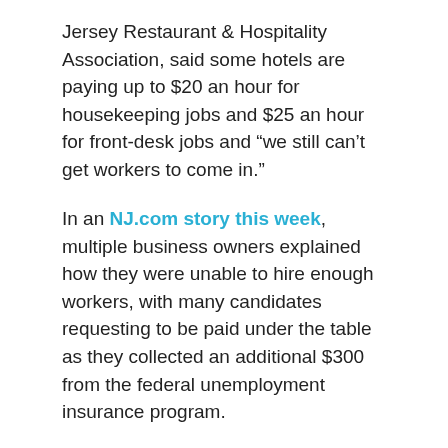Jersey Restaurant & Hospitality Association, said some hotels are paying up to $20 an hour for housekeeping jobs and $25 an hour for front-desk jobs and “we still can’t get workers to come in.”
In an NJ.com story this week, multiple business owners explained how they were unable to hire enough workers, with many candidates requesting to be paid under the table as they collected an additional $300 from the federal unemployment insurance program.
To address that, Siekerka has led the call for Gov. Phil Murphy to take a different approach. She has suggested considering a lump sum payment upfront for individuals returning to work now, and tax credits to those businesses who are struggling to raise